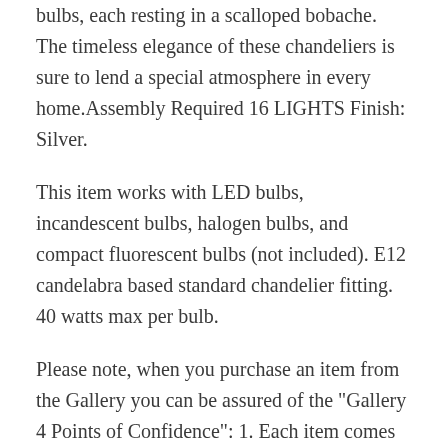bulbs, each resting in a scalloped bobache. The timeless elegance of these chandeliers is sure to lend a special atmosphere in every home.Assembly Required 16 LIGHTS Finish: Silver.
This item works with LED bulbs, incandescent bulbs, halogen bulbs, and compact fluorescent bulbs (not included). E12 candelabra based standard chandelier fitting. 40 watts max per bulb.
Please note, when you purchase an item from the Gallery you can be assured of the "Gallery 4 Points of Confidence": 1. Each item comes with a Certificate of Authenticity, certifying this product is an authentic Gallery lighting fixture. 2. Each item comes with a Gallery backed warranty (Established 1978).